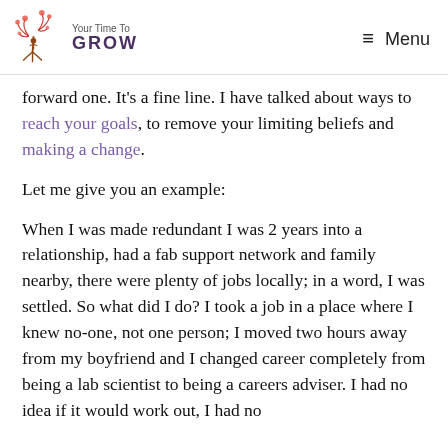Your Time To GROW  ≡ Menu
forward one. It's a fine line. I have talked about ways to reach your goals, to remove your limiting beliefs and making a change.
Let me give you an example:
When I was made redundant I was 2 years into a relationship, had a fab support network and family nearby, there were plenty of jobs locally; in a word, I was settled. So what did I do? I took a job in a place where I knew no-one, not one person; I moved two hours away from my boyfriend and I changed career completely from being a lab scientist to being a careers adviser. I had no idea if it would work out, I had no